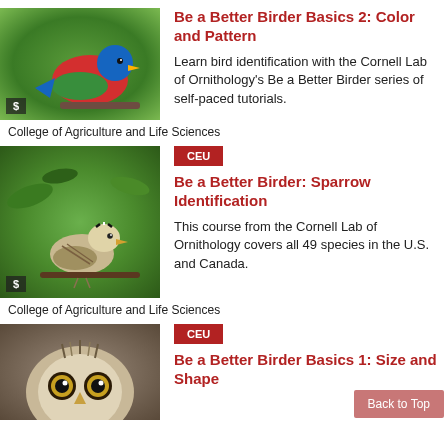[Figure (photo): Colorful painted bunting bird perched on a branch with dollar badge overlay]
Be a Better Birder Basics 2: Color and Pattern
Learn bird identification with the Cornell Lab of Ornithology's Be a Better Birder series of self-paced tutorials.
College of Agriculture and Life Sciences
[Figure (photo): White-crowned sparrow perched on a branch with CEU badge and dollar badge overlay]
Be a Better Birder: Sparrow Identification
This course from the Cornell Lab of Ornithology covers all 49 species in the U.S. and Canada.
College of Agriculture and Life Sciences
[Figure (photo): Close-up of an owl face with CEU badge overlay]
Be a Better Birder Basics 1: Size and Shape